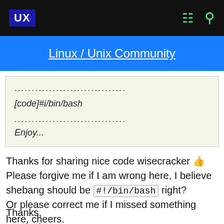UX | Linux / Unix Community
................................
[code]#i/bin/bash
................................
Enjoy...
Thanks for sharing nice code wisecracker 👍 Please forgive me if I am wrong here, I believe shebang should be #!/bin/bash right? Or please correct me if I missed something here, cheers.
Thanks,
R. Singh